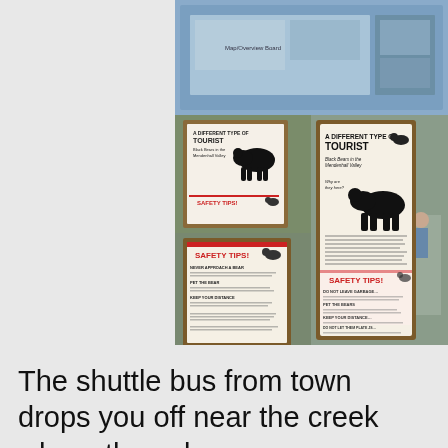[Figure (photo): Collage of photos from Mendenhall Valley visitor center showing informational signs about black bears ('A Different Type of Tourist' and 'Safety Tips!'), outdoor forest scenes, and framed interpretive displays mounted on stone pillars]
The shuttle bus from town drops you off near the creek where the salmon...